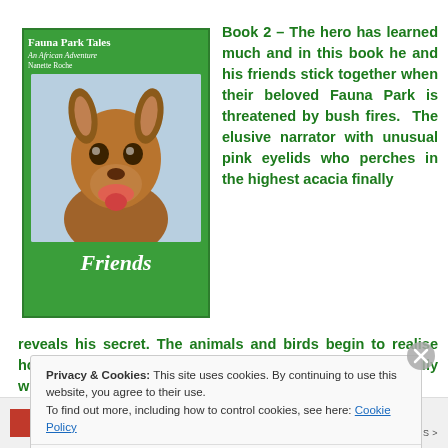[Figure (illustration): Book cover of 'Fauna Park Tales - An African Adventure: Friends' by Nanette Roche. Green cover with an illustration of a kangaroo face and the title 'Friends' in italic white text.]
Book 2 – The hero has learned much and in this book he and his friends stick together when their beloved Fauna Park is threatened by bush fires.  The elusive narrator with unusual pink eyelids who perches in the highest acacia finally reveals his secret. The animals and birds begin to realise how important the good humans' support is, especially when a further secret helps them discover the identity of
Privacy & Cookies: This site uses cookies. By continuing to use this website, you agree to their use.
To find out more, including how to control cookies, see here: Cookie Policy
Close and accept